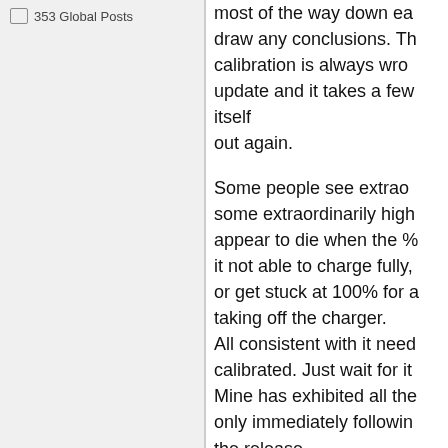353 Global Posts
most of the way down ea… draw any conclusions. Th… calibration is always wro… update and it takes a few… itself out again.
Some people see extrao… some extraordinarily high… appear to die when the %… it not able to charge fully,… or get stuck at 100% for a… taking off the charger. All consistent with it need… calibrated. Just wait for it… Mine has exhibited all the… only immediately followin… the release.
Oh, and if you did try to a…